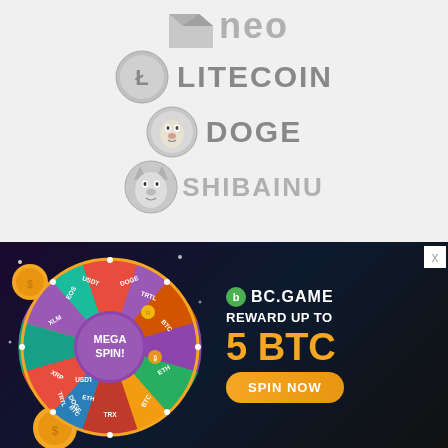[Figure (logo): NEO cryptocurrency logo with grey angled square icon and grey 'neo' text]
[Figure (logo): Litecoin cryptocurrency logo with silver coin icon and grey 'LITECOIN' text]
[Figure (logo): Dogecoin cryptocurrency logo with grey dog coin icon and grey 'DOGE' text]
[Figure (logo): Shiba Inu cryptocurrency logo with grey shiba dog icon and grey 'SHIBAINU' text]
[Figure (infographic): BC.GAME advertisement banner with colorful spinning wheel showing crypto coins (USDT, DOGE, XLM, ETH, BTC, TRX, XRP, EOS, TRTL) labeled MEGA SPIN, with text: BC.GAME REWARD UP TO 5 BTC and SPIN NOW button]